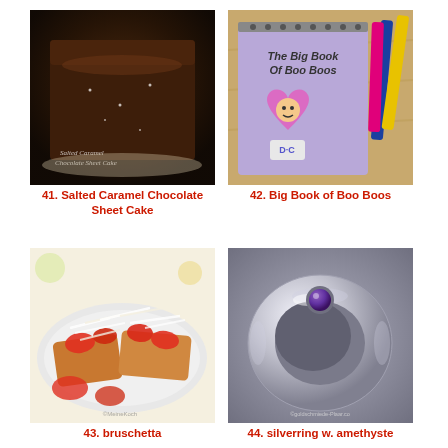[Figure (photo): Salted Caramel Chocolate Sheet Cake - dark chocolate cake on a plate with white text overlay]
41. Salted Caramel Chocolate Sheet Cake
[Figure (photo): Big Book of Boo Boos - purple Doc McStuffins notebook with crayons on wooden surface]
42. Big Book of Boo Boos
[Figure (photo): Bruschetta - tomato bruschetta on toasted bread with shredded cheese on a plate]
43. bruschetta
[Figure (photo): Silver ring with amethyst stone - hammered silver band with purple amethyst gemstone]
44. silverring w. amethyste